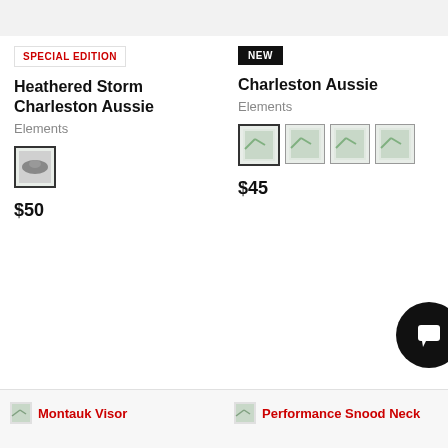SPECIAL EDITION
Heathered Storm Charleston Aussie
Elements
[Figure (photo): Swatch thumbnail of a hat product]
$50
NEW
Charleston Aussie
Elements
[Figure (photo): Four color swatch thumbnails for product variants]
$45
Montauk Visor
Performance Snood Neck